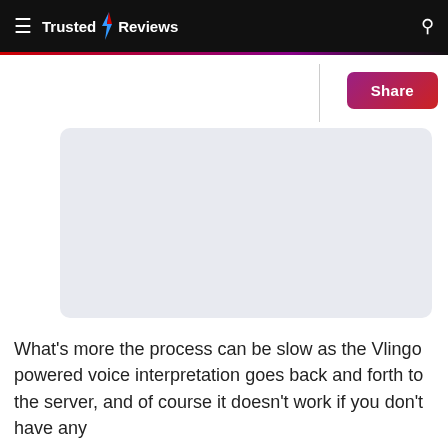Trusted Reviews
[Figure (screenshot): Light blue-grey placeholder image/advertisement box]
What's more the process can be slow as the Vlingo powered voice interpretation goes back and forth to the server, and of course it doesn't work if you don't have any